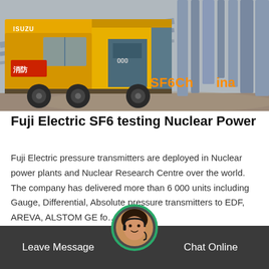[Figure (photo): Yellow Isuzu truck with open side cargo box at an industrial/power plant facility with large pipes in the background. Orange watermark text 'SF6China' in bottom right of image.]
Fuji Electric SF6 testing Nuclear Power
Fuji Electric pressure transmitters are deployed in Nuclear power plants and Nuclear Research Centre over the world. The company has delivered more than 6 000 units including Gauge, Differential, Absolute pressure transmitters to EDF, AREVA, ALSTOM GE fo…
Get Price
Leave Message
Chat Online